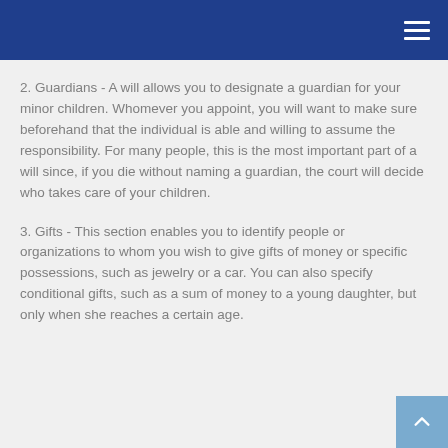2. Guardians - A will allows you to designate a guardian for your minor children. Whomever you appoint, you will want to make sure beforehand that the individual is able and willing to assume the responsibility. For many people, this is the most important part of a will since, if you die without naming a guardian, the court will decide who takes care of your children.
3. Gifts - This section enables you to identify people or organizations to whom you wish to give gifts of money or specific possessions, such as jewelry or a car. You can also specify conditional gifts, such as a sum of money to a young daughter, but only when she reaches a certain age.